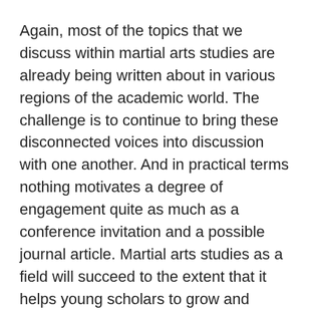Again, most of the topics that we discuss within martial arts studies are already being written about in various regions of the academic world.  The challenge is to continue to bring these disconnected voices into discussion with one another.  And in practical terms nothing motivates a degree of engagement quite as much as a conference invitation and a possible journal article.  Martial arts studies as a field will succeed to the extent that it helps young scholars to grow and thrive.
Despite its abundant natural beauty, Ithaca is not actually an easy place to get to.  The fact that people were willing to fly, drive or take a bus to attend what was essentially a social and networking event speaks volumes regarding the